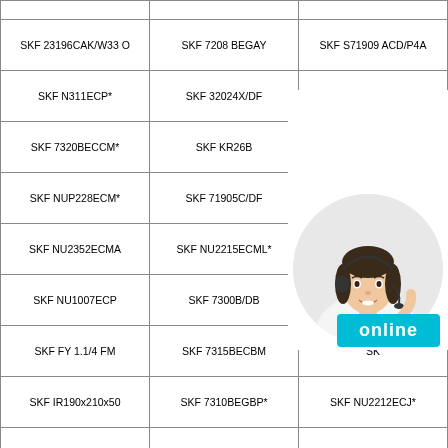|  |  |  |
| SKF 23196CAK/W33 O | SKF 7208 BEGAY | SKF S71909 ACD/P4A |
| SKF N311ECP* | SKF 32024X/DF | SKF NU2220ECP |
| SKF 7320BECCM* | SKF KR26B | SKF … |
| SKF NUP228ECM* | SKF 71905C/DF | SKF … |
| SKF NU2352ECMA | SKF NU2215ECML* | SKF … |
| SKF NU1007ECP | SKF 7300B/DB | SKF … |
| SKF FY 1.1/4 FM | SKF 7315BECBM | SK… |
| SKF IR190x210x50 | SKF 7310BEGBP* | SKF NU2212ECJ* |
| SKF 240/600 ECA/W33 | SKF 71972 BM | SKF NU 3164 ECMA |
[Figure (photo): Customer service agent (woman with headset) in a circular crop, with a cyan 'online' button below]
online